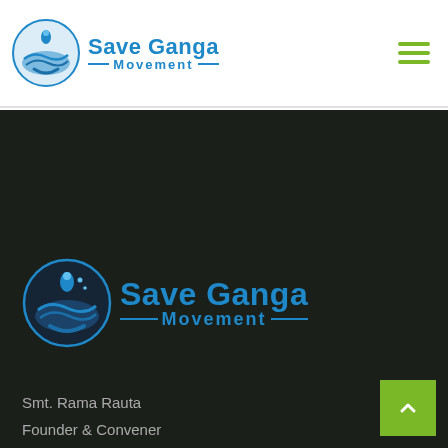Save Ganga Movement
[Figure (logo): Save Ganga Movement logo in dark section — circular water/hand emblem with blue text 'Save Ganga Movement']
Smt. Rama Rauta
Founder & Convener
Save Ganga Movement
Phone: +91 97653-59040
ramarauta@rediffmail.com ,